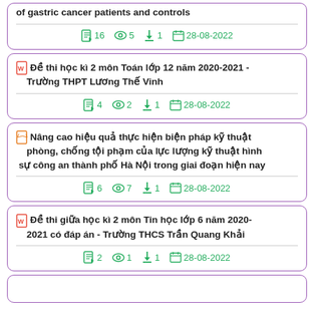of gastric cancer patients and controls
16 views 5 downloads 1 date 28-08-2022
Đề thi học kì 2 môn Toán lớp 12 năm 2020-2021 - Trường THPT Lương Thế Vinh
4 views 2 downloads 1 date 28-08-2022
Nâng cao hiệu quả thực hiện biện pháp kỹ thuật phòng, chống tội phạm của lực lượng kỹ thuật hình sự công an thành phố Hà Nội trong giai đoạn hiện nay
6 views 7 downloads 1 date 28-08-2022
Đề thi giữa học kì 2 môn Tin học lớp 6 năm 2020-2021 có đáp án - Trường THCS Trần Quang Khải
2 views 1 downloads 1 date 28-08-2022